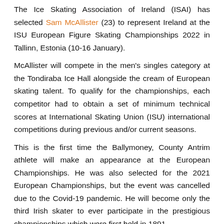The Ice Skating Association of Ireland (ISAI) has selected Sam McAllister (23) to represent Ireland at the ISU European Figure Skating Championships 2022 in Tallinn, Estonia (10-16 January).
McAllister will compete in the men's singles category at the Tondiraba Ice Hall alongside the cream of European skating talent. To qualify for the championships, each competitor had to obtain a set of minimum technical scores at International Skating Union (ISU) international competitions during previous and/or current seasons.
This is the first time the Ballymoney, County Antrim athlete will make an appearance at the European Championships. He was also selected for the 2021 European Championships, but the event was cancelled due to the Covid-19 pandemic. He will become only the third Irish skater to ever participate in the prestigious championships which were first held in 1891.